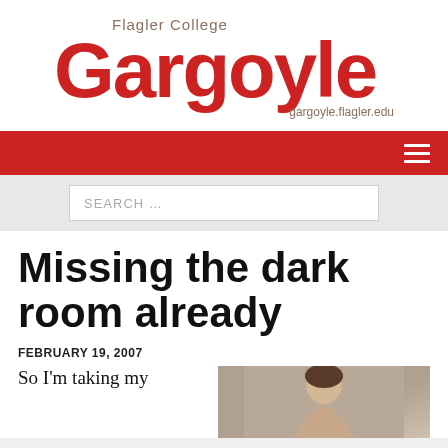Flagler College Gargoyle — gargoyle.flagler.edu
[Figure (logo): Flagler College Gargoyle logo with large red 'Gargoyle' text, smaller gray 'Flagler College' text above, and URL 'gargoyle.flagler.edu' below right]
[Figure (screenshot): Red navigation bar with white hamburger menu icon on the right]
[Figure (screenshot): Search bar with placeholder text 'SEARCH ...']
Missing the dark room already
FEBRUARY 19, 2007
So I'm taking my
[Figure (photo): Partial photo of a person, cropped at bottom of page]